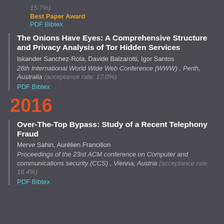15.7%)
Best Paper Award
PDF Bibtex
The Onions Have Eyes: A Comprehensive Structure and Privacy Analysis of Tor Hidden Services
Iskander Sanchez-Rola, Davide Balzarotti, Igor Santos
26th International World Wide Web Conference (WWW) , Perth, Australia (acceptance rate: 17.0%)
PDF Bibtex
2016
Over-The-Top Bypass: Study of a Recent Telephony Fraud
Merve Sahin, Aurélien Francillon
Proceedings of the 23rd ACM conference on Computer and communications security (CCS) , Vienna, Austria (acceptance rate: 16.4%)
PDF Bibtex